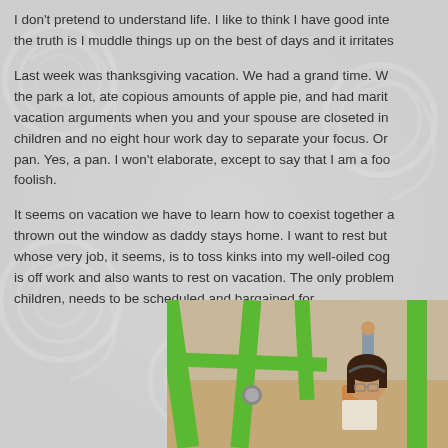I don't pretend to understand life. I like to think I have good inte the truth is I muddle things up on the best of days and it irritates
Last week was thanksgiving vacation. We had a grand time. W the park a lot, ate copious amounts of apple pie, and had marit vacation arguments when you and your spouse are closeted in children and no eight hour work day to separate your focus. On pan. Yes, a pan. I won't elaborate, except to say that I am a foo foolish.
It seems on vacation we have to learn how to coexist together a thrown out the window as daddy stays home. I want to rest but whose very job, it seems, is to toss kinks into my well-oiled cog is off work and also wants to rest on vacation. The only problem children, needs to be scheduled and bargained for.
[Figure (photo): A woman with glasses and dark hair at a playground with green metal play equipment bars visible]